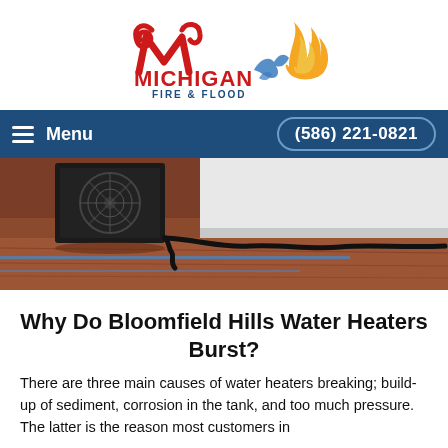[Figure (logo): Michigan Fire & Flood logo with red stylized M and flame/water splash graphic]
Menu   (586) 221-0821
[Figure (photo): Black industrial fan/blower sitting on a wood floor with cables, water damage restoration equipment]
Why Do Bloomfield Hills Water Heaters Burst?
There are three main causes of water heaters breaking; build-up of sediment, corrosion in the tank, and too much pressure. The latter is the reason most customers in